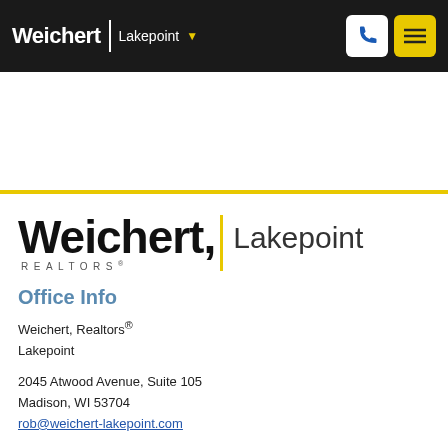Weichert | Lakepoint [navigation bar with phone and menu buttons]
[Figure (logo): Weichert Realtors Lakepoint logo — large black bold Weichert text with yellow vertical bar and Lakepoint beside it]
Office Info
Weichert, Realtors®
Lakepoint
2045 Atwood Avenue, Suite 105
Madison, WI 53704
rob@weichert-lakepoint.com